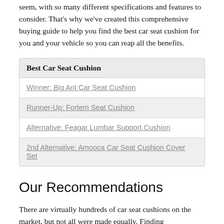seem, with so many different specifications and features to consider. That's why we've created this comprehensive buying guide to help you find the best car seat cushion for you and your vehicle so you can reap all the benefits.
| Best Car Seat Cushion |
| --- |
| Winner: Big Ant Car Seat Cushion |
| Runner-Up: Fortem Seat Cushion |
| Alternative: Feagar Lumbar Support Cushion |
| 2nd Alternative: Amooca Car Seat Cushion Cover Set |
Our Recommendations
There are virtually hundreds of car seat cushions on the market, but not all were made equally. Finding